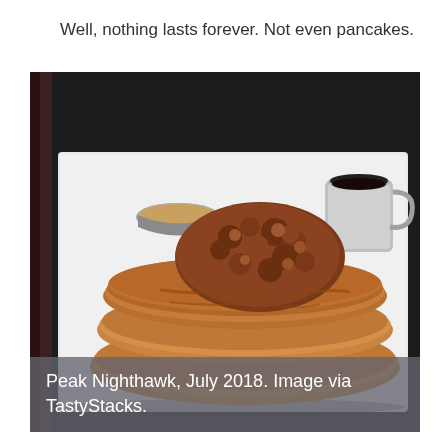Well, nothing lasts forever. Not even pancakes.
[Figure (photo): A stack of golden pancakes topped with a piece of crispy fried chicken on a white square plate, accompanied by a small metal bowl with a dipping sauce and a small metal pitcher of syrup, on a dark background. Caption overlay reads: Peak Nighthawk, July 2018. Image via TastyStacks.]
Peak Nighthawk, July 2018. Image via TastyStacks.